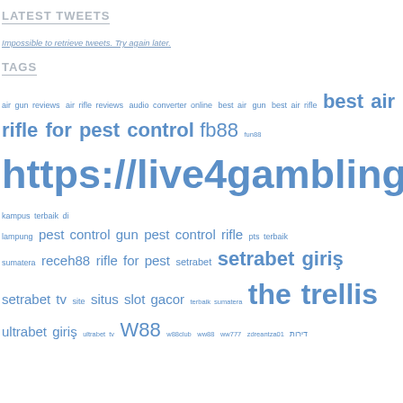LATEST TWEETS
Impossible to retrieve tweets. Try again later.
TAGS
air gun reviews air rifle reviews audio converter online best air gun best air rifle best air rifle for pest control fb88 fun88 https://live4gambling.com kampus terbaik di lampung pest control gun pest control rifle pts terbaik sumatera receh88 rifle for pest setrabet setrabet giriş setrabet tv site situs slot gacor terbaik sumatera the trellis ultrabet giriş ultrabet tv W88 w88club ww88 ww777 zdreantza01 דירות